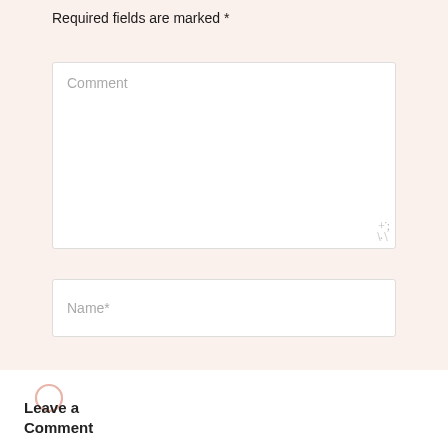Your email address will not be published. Required fields are marked *
[Figure (screenshot): Comment textarea input box with placeholder text 'Comment']
[Figure (screenshot): Name input field with placeholder text 'Name*']
[Figure (illustration): Chat bubble / comment icon in pink/salmon color]
Leave a Comment